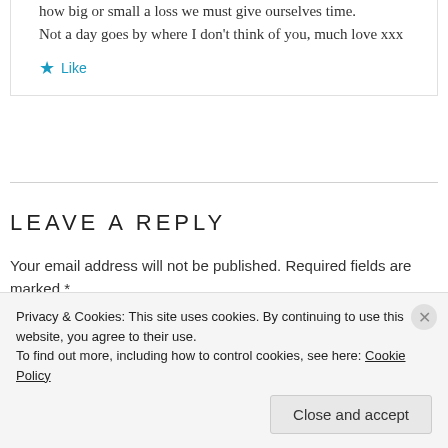how big or small a loss we must give ourselves time. Not a day goes by where I don't think of you, much love xxx
★ Like
LEAVE A REPLY
Your email address will not be published. Required fields are marked *
Privacy & Cookies: This site uses cookies. By continuing to use this website, you agree to their use. To find out more, including how to control cookies, see here: Cookie Policy
Close and accept